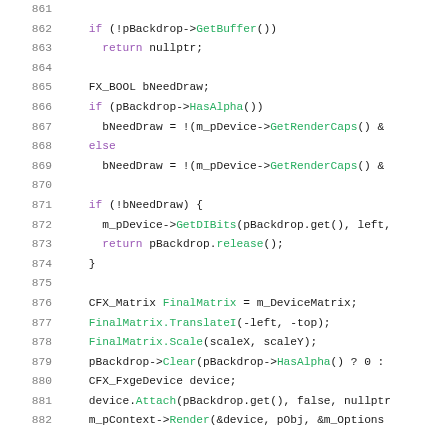861-882: source code listing
861
862  if (!pBackdrop->GetBuffer())
863    return nullptr;
864
865  FX_BOOL bNeedDraw;
866  if (pBackdrop->HasAlpha())
867    bNeedDraw = !(m_pDevice->GetRenderCaps() &
868  else
869    bNeedDraw = !(m_pDevice->GetRenderCaps() &
870
871  if (!bNeedDraw) {
872    m_pDevice->GetDIBits(pBackdrop.get(), left,
873    return pBackdrop.release();
874  }
875
876  CFX_Matrix FinalMatrix = m_DeviceMatrix;
877  FinalMatrix.TranslateI(-left, -top);
878  FinalMatrix.Scale(scaleX, scaleY);
879  pBackdrop->Clear(pBackdrop->HasAlpha() ? 0 :
880  CFX_FxgeDevice device;
881  device.Attach(pBackdrop.get(), false, nullptr
882  m_pContext->Render(&device, pObj, &m_Options